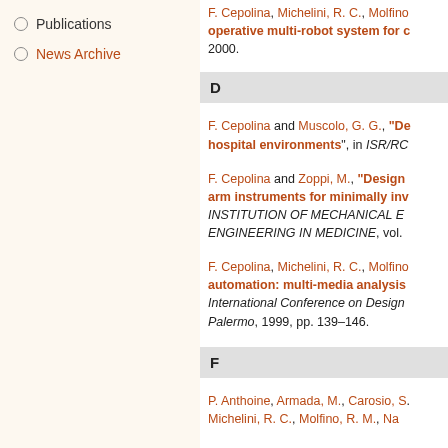Publications
News Archive
D
F. Cepolina and Muscolo, G. G., "De... hospital environments", in ISR/RC...
F. Cepolina and Zoppi, M., "Design ... arm instruments for minimally inv... INSTITUTION OF MECHANICAL E... ENGINEERING IN MEDICINE, vol.
F. Cepolina, Michelini, R. C., Molfino... automation: multi-media analysis... International Conference on Design... Palermo, 1999, pp. 139–146.
F
P. Anthoine, Armada, M., Carosio, S... Michelini, R. C., Molfino, R. M., Na...